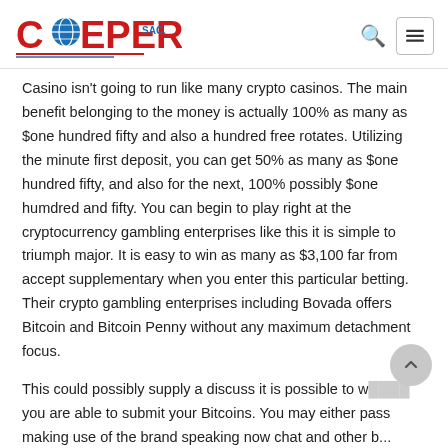COEPER SAC. (logo with search and menu icons)
Casino isn't going to run like many crypto casinos. The main benefit belonging to the money is actually 100% as many as $one hundred fifty and also a hundred free rotates. Utilizing the minute first deposit, you can get 50% as many as $one hundred fifty, and also for the next, 100% possibly $one humdred and fifty. You can begin to play right at the cryptocurrency gambling enterprises like this it is simple to triumph major. It is easy to win as many as $3,100 far from accept supplementary when you enter this particular betting. Their crypto gambling enterprises including Bovada offers Bitcoin and Bitcoin Penny without any maximum detachment focus.
This could possibly supply a discuss it is possible to w... you are able to submit your Bitcoins. You may either pass making use of the brand speaking now chat and other b...